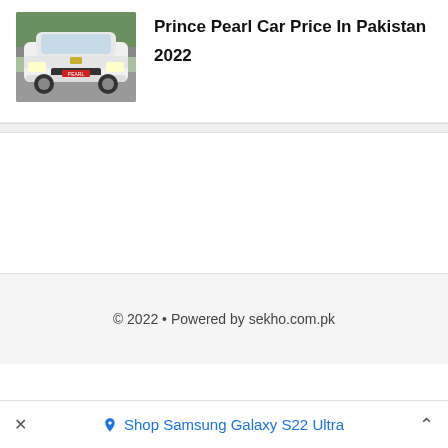[Figure (photo): Front view of a white Prince Pearl car parked on a road with trees in background]
Prince Pearl Car Price In Pakistan 2022
© 2022 • Powered by sekho.com.pk
Shop Samsung Galaxy S22 Ultra